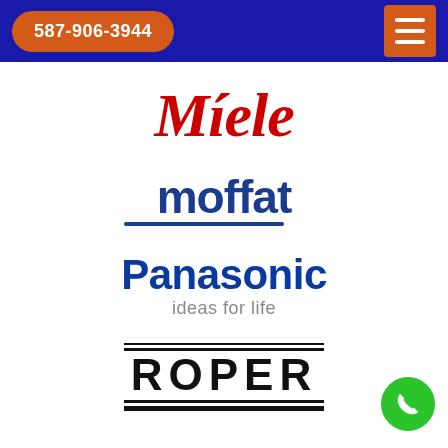587-906-3944
[Figure (logo): Miele brand logo in red italic serif font]
[Figure (logo): Moffat brand logo in dark blue sans-serif font with blue underline]
[Figure (logo): Panasonic logo in dark blue bold sans-serif with tagline 'ideas for life']
[Figure (logo): Roper brand logo in black bold letters with horizontal lines above and below]